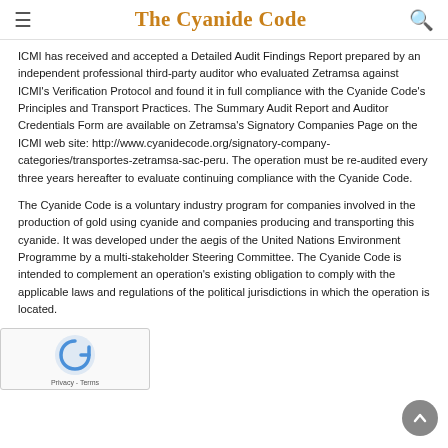☰  The Cyanide Code  🔍
ICMI has received and accepted a Detailed Audit Findings Report prepared by an independent professional third-party auditor who evaluated Zetramsa against ICMI's Verification Protocol and found it in full compliance with the Cyanide Code's Principles and Transport Practices. The Summary Audit Report and Auditor Credentials Form are available on Zetramsa's Signatory Companies Page on the ICMI web site: http://www.cyanidecode.org/signatory-company-categories/transportes-zetramsa-sac-peru. The operation must be re-audited every three years hereafter to evaluate continuing compliance with the Cyanide Code.
The Cyanide Code is a voluntary industry program for companies involved in the production of gold using cyanide and companies producing and transporting this cyanide. It was developed under the aegis of the United Nations Environment Programme by a multi-stakeholder Steering Committee. The Cyanide Code is intended to complement an operation's existing obligation to comply with the applicable laws and regulations of the political jurisdictions in which the operation is located.